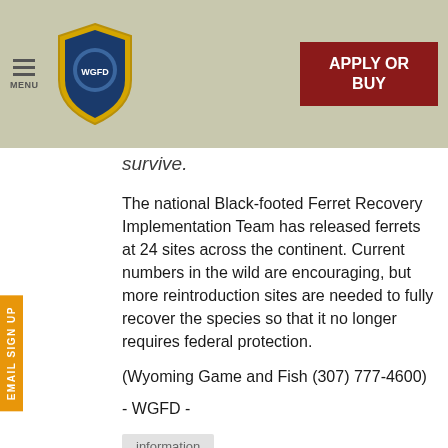MENU | [Wyoming Game and Fish Department logo] | APPLY OR BUY
survive.
The national Black-footed Ferret Recovery Implementation Team has released ferrets at 24 sites across the continent. Current numbers in the wild are encouraging, but more reintroduction sites are needed to fully recover the species so that it no longer requires federal protection.
(Wyoming Game and Fish (307) 777-4600)
- WGFD -
information
[Figure (photo): Photo of hunter with gun in field]
Safety first for hunting